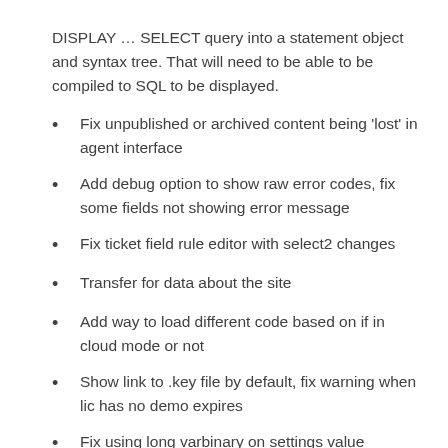DISPLAY … SELECT query into a statement object and syntax tree. That will need to be able to be compiled to SQL to be displayed.
Fix unpublished or archived content being 'lost' in agent interface
Add debug option to show raw error codes, fix some fields not showing error message
Fix ticket field rule editor with select2 changes
Transfer for data about the site
Add way to load different code based on if in cloud mode or not
Show link to .key file by default, fix warning when lic has no demo expires
Fix using long varbinary on settings value
Few changes to license to support a cloud license